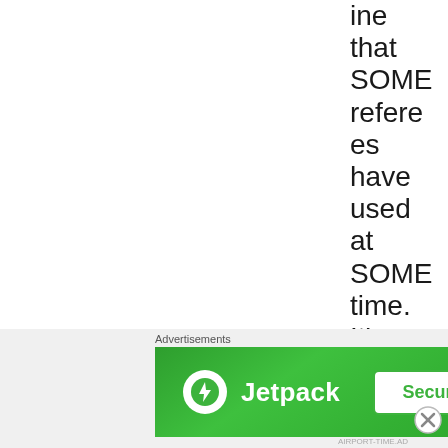ine that SOME referees have used at SOME time. It's not official, and there'
[Figure (infographic): Jetpack advertisement banner with green background, Jetpack logo (lightning bolt in white circle), 'Jetpack' text in white, and 'Secure Your Site' button]
Advertisements